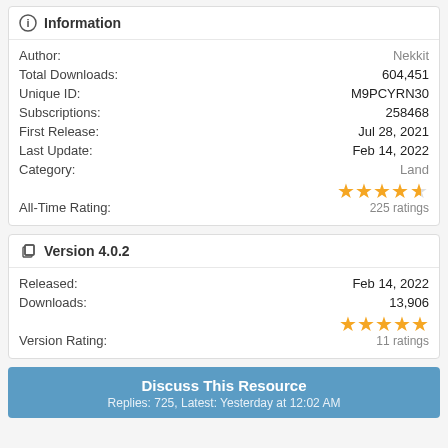Information
| Field | Value |
| --- | --- |
| Author: | Nekkit |
| Total Downloads: | 604,451 |
| Unique ID: | M9PCYRN30 |
| Subscriptions: | 258468 |
| First Release: | Jul 28, 2021 |
| Last Update: | Feb 14, 2022 |
| Category: | Land |
| All-Time Rating: | ★★★★½ 225 ratings |
Version 4.0.2
| Field | Value |
| --- | --- |
| Released: | Feb 14, 2022 |
| Downloads: | 13,906 |
| Version Rating: | ★★★★★ 11 ratings |
Discuss This Resource
Replies: 725, Latest: Yesterday at 12:02 AM